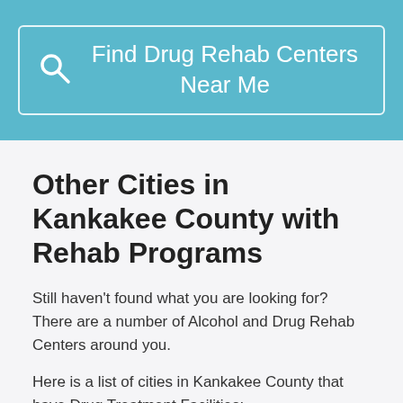[Figure (screenshot): Search banner with teal background containing a search box with magnifying glass icon and text 'Find Drug Rehab Centers Near Me']
Other Cities in Kankakee County with Rehab Programs
Still haven't found what you are looking for? There are a number of Alcohol and Drug Rehab Centers around you.
Here is a list of cities in Kankakee County that have Drug Treatment Facilities: